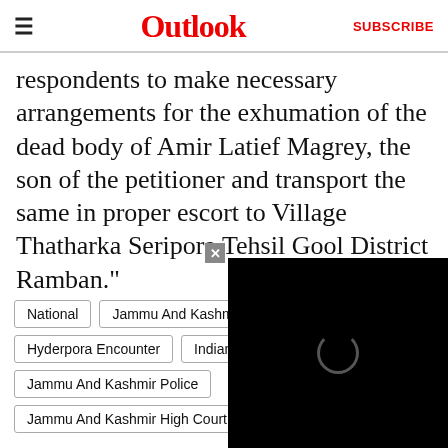Outlook | SUBSCRIBE
respondents to make necessary arrangements for the exhumation of the dead body of Amir Latief Magrey, the son of the petitioner and transport the same in proper escort to Village Thatharka Seripora Tehsil Gool District Ramban."
National
Jammu And Kashmir
Encounters
Hyderpora Encounter
Indian [Army]
Jammu And Kashmir Police
Jammu And Kashmir High Court
[Figure (screenshot): Black video player overlay with loading spinner in center and close button (x) at top-left corner of the overlay]